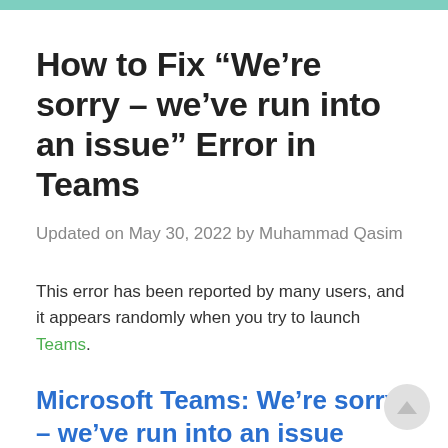How to Fix “We’re sorry – we’ve run into an issue” Error in Teams
Updated on May 30, 2022 by Muhammad Qasim
This error has been reported by many users, and it appears randomly when you try to launch Teams.
Microsoft Teams: We’re sorry – we’ve run into an issue